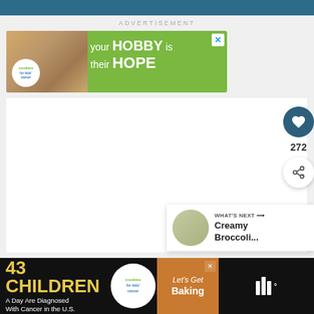ADVERTISEMENT
[Figure (screenshot): Advertisement banner for Cookies for Kids Cancer. Green background with photo of hands holding a heart-shaped cookie. White circle logo reads 'cookies for kids cancer'. Text: 'your HOBBY is their HOPE'. X close button in top right.]
[Figure (screenshot): Floating action buttons on right side: dark teal circle with heart/like icon, count showing 272, white circle share button with share icon.]
[Figure (screenshot): What's Next card in bottom right showing thumbnail and text: 'WHAT'S NEXT → Creamy Broccoli...']
[Figure (screenshot): Bottom advertisement banner with dark background. Text: '43 CHILDREN A Day Are Diagnosed With Cancer in the U.S.' Cookies for Kids Cancer logo. 'Let's Get Baking' text. Walli app icon on right.]